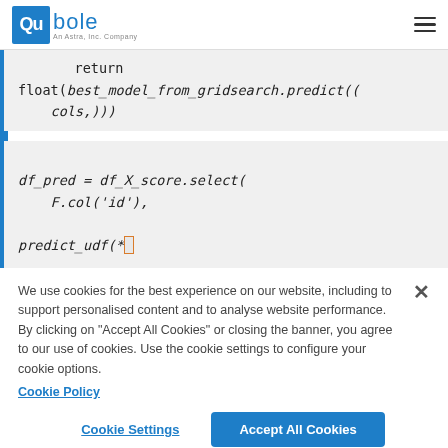Qubole
[Figure (screenshot): Code block showing Python snippet: return float(best_model_from_gridsearch.predict((cols,))) followed by df_pred = df_X_score.select( F.col('id'), predict_udf(*]
We use cookies for the best experience on our website, including to support personalised content and to analyse website performance. By clicking on "Accept All Cookies" or closing the banner, you agree to our use of cookies. Use the cookie settings to configure your cookie options.
Cookie Policy
Cookie Settings
Accept All Cookies